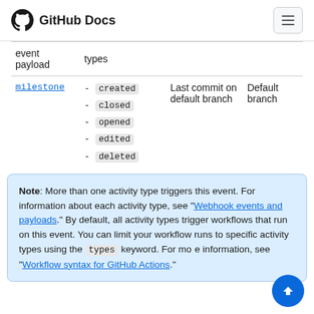GitHub Docs
| event payload | types |  |  |
| --- | --- | --- | --- |
| milestone | - created
- closed
- opened
- edited
- deleted | Last commit on default branch | Default branch |
Note: More than one activity type triggers this event. For information about each activity type, see "Webhook events and payloads." By default, all activity types trigger workflows that run on this event. You can limit your workflow runs to specific activity types using the types keyword. For more information, see "Workflow syntax for GitHub Actions."